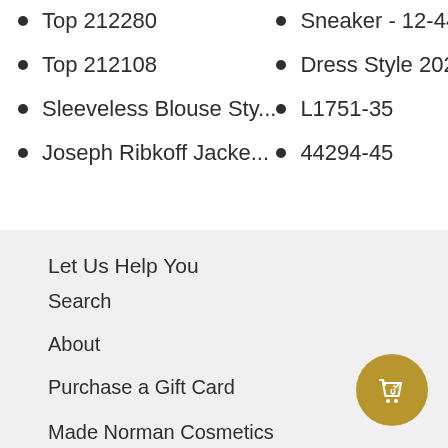Top 212280
Sneaker - 12-44060
Top 212108
Dress Style 202264
Sleeveless Blouse Sty...
L1751-35
Joseph Ribkoff Jacke...
44294-45
Let Us Help You
Search
About
Purchase a Gift Card
Made Norman Cosmetics